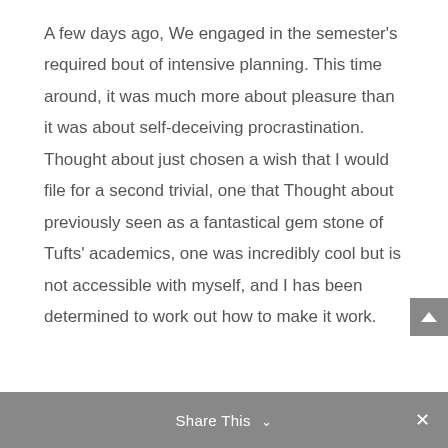A few days ago, We engaged in the semester's required bout of intensive planning. This time around, it was much more about pleasure than it was about self-deceiving procrastination. Thought about just chosen a wish that I would file for a second trivial, one that Thought about previously seen as a fantastical gem stone of Tufts' academics, one was incredibly cool but is not accessible with myself, and I has been determined to work out how to make it work.
Share This ∨  ×